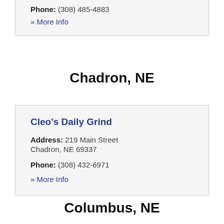Phone: (308) 485-4883
» More Info
Chadron, NE
Cleo's Daily Grind
Address: 219 Main Street Chadron, NE 69337
Phone: (308) 432-6971
» More Info
Columbus, NE